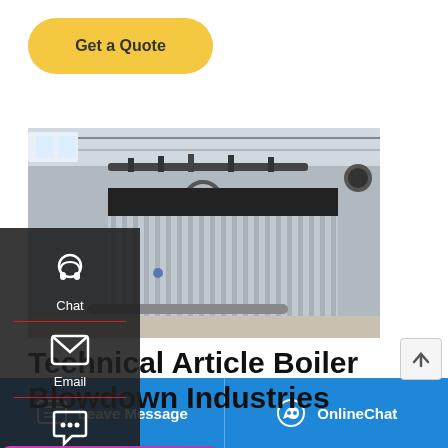[Figure (other): Yellow 'Get a Quote' button with rounded corners on white background]
[Figure (photo): Industrial boiler equipment with corrugated metal cladding inside a factory/warehouse building]
[Figure (infographic): Sidebar with dark background showing Chat (headset icon), Email (envelope icon), and Contact (speech bubble icon) options with dividers]
Technical Article Boiler Blowdown Industries
wdown Boilers require periodic.
[Figure (other): WhatsApp sticker popup with purple/pink gradient background showing 'Save Stickers on WhatsApp' label and phone/face icons]
Leave Message   OnlineChat